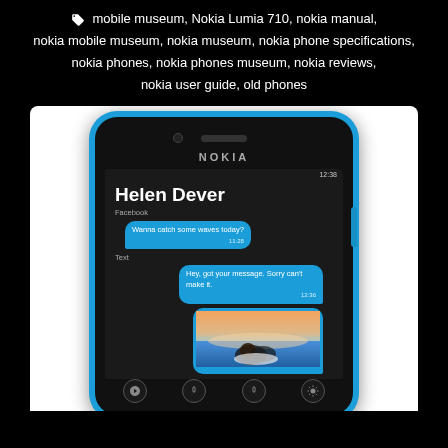mobile museum, Nokia Lumia 710, nokia manual, nokia mobile museum, nokia museum, nokia phone specifications, nokia phones, nokia phones museum, nokia reviews, nokia user guide, old phones
[Figure (photo): Nokia Lumia 710 smartphone showing a messaging screen with Helen Dever contact, Facebook and Text messages including 'Wanna catch some waves today? 11:28', 'Hey, got your message. Sorry can't make it. 12:36', and an image with caption 'Look what you're missing. 12:36', with a text input field and bottom navigation buttons.]